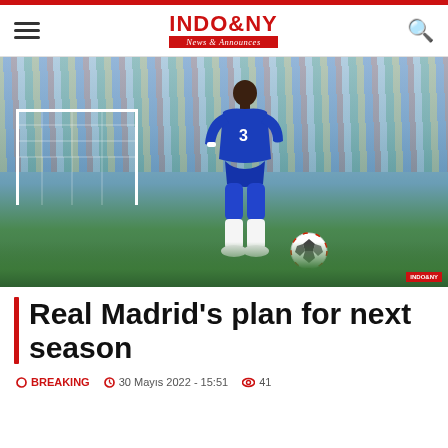INDO & NY — News & Announces
[Figure (photo): Football player in Chelsea blue kit dribbling a ball on a football pitch with crowd in background]
Real Madrid's plan for next season
BREAKING   30 Mayıs 2022 - 15:51   41